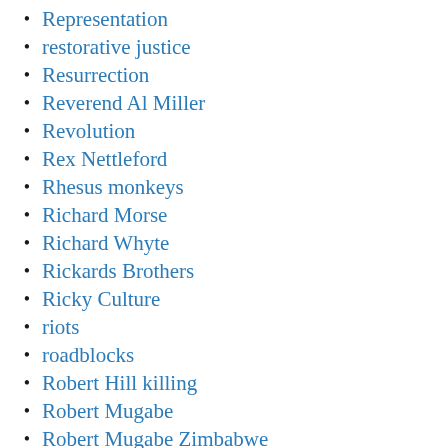Representation
restorative justice
Resurrection
Reverend Al Miller
Revolution
Rex Nettleford
Rhesus monkeys
Richard Morse
Richard Whyte
Rickards Brothers
Ricky Culture
riots
roadblocks
Robert Hill killing
Robert Mugabe
Robert Mugabe Zimbabwe